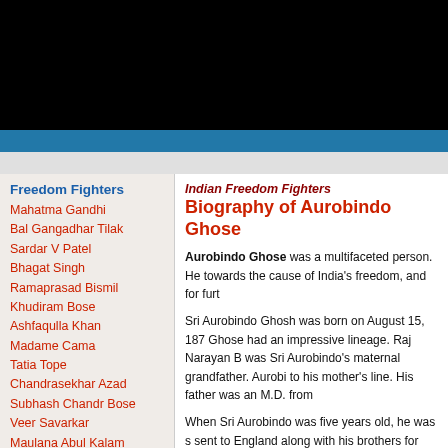[Figure (other): Black header bar at top of webpage]
[Figure (other): Blue navigation bar]
[Figure (other): Gray sub-navigation bar]
Freedom Fighters
Mahatma Gandhi
Bal Gangadhar Tilak
Sardar V Patel
Bhagat Singh
Ramaprasad Bismil
Khudiram Bose
Ashfaqulla Khan
Madame Cama
Tatia Tope
Chandrasekhar Azad
Subhash Chandr Bose
Veer Savarkar
Maulana Abul Kalam
Lal Bahadur Shastri
Jawaharlal Nehru
Gopal Krishna Gokhale
Aurobindo Ghose
Dadabhai Naoroji
Indian Freedom Fighters
Biography of Aurobindo Ghose
Aurobindo Ghose was a multifaceted person. He towards the cause of India's freedom, and for furt
Sri Aurobindo Ghosh was born on August 15, 187 Ghose had an impressive lineage. Raj Narayan B was Sri Aurobindo's maternal grandfather. Aurobi to his mother's line. His father was an M.D. from
When Sri Aurobindo was five years old, he was s sent to England along with his brothers for higher eighteen. Sri Aurobindo got admission into Camb